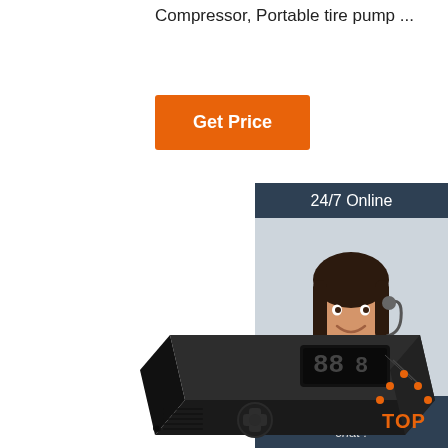Compressor, Portable tire pump ...
Get Price
[Figure (screenshot): 24/7 Online customer support sidebar with photo of woman with headset, 'Click here for free chat!' text and orange QUOTATION button]
[Figure (photo): Black portable air compressor / tire pump product photo, angled view showing digital display and control buttons]
[Figure (logo): TOP badge with orange dotted triangle above the word TOP]